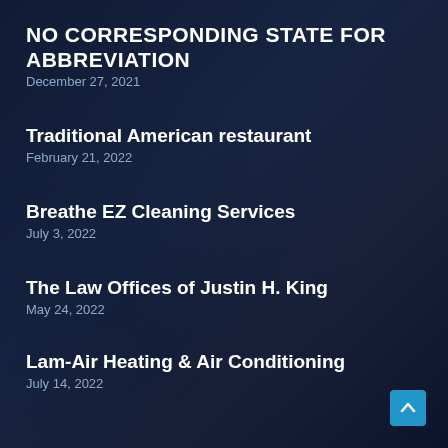NO CORRESPONDING STATE FOR ABBREVIATION
December 27, 2021
Traditional American restaurant
February 21, 2022
Breathe EZ Cleaning Services
July 3, 2022
The Law Offices of Justin H. King
May 24, 2022
Lam-Air Heating & Air Conditioning
July 14, 2022